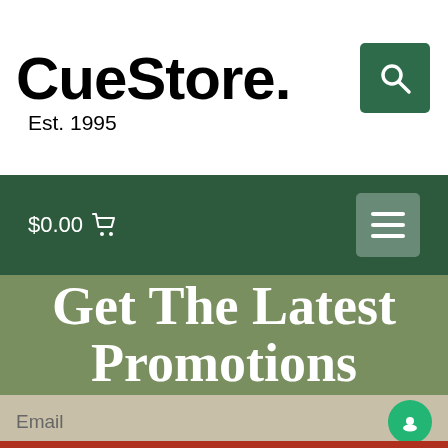CueStore. Est. 1995
$0.00
Get The Latest Promotions
Sign-Up to be notified when new deals come out. We won't spam you, we promise.
Email